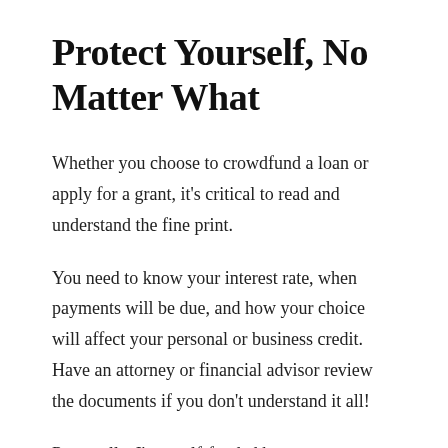Protect Yourself, No Matter What
Whether you choose to crowdfund a loan or apply for a grant, it's critical to read and understand the fine print.
You need to know your interest rate, when payments will be due, and how your choice will affect your personal or business credit. Have an attorney or financial advisor review the documents if you don't understand it all!
Personally, I'm a self-funded bootstrapper